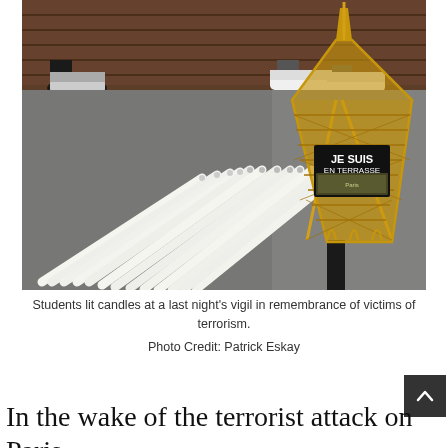[Figure (photo): Photo of white candles laid flat on a grey table next to a golden Eiffel Tower replica with a sign reading 'JE SUIS EN TERRASSE', people's feet visible in the background.]
Students lit candles at a last night's vigil in remembrance of victims of terrorism.
Photo Credit: Patrick Eskay
In the wake of the terrorist attack on Paris,